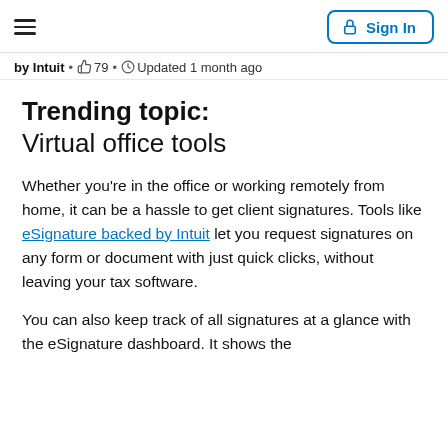☰  Sign In
by Intuit • 👍 79 • 🕐 Updated 1 month ago
Trending topic: Virtual office tools
Whether you're in the office or working remotely from home, it can be a hassle to get client signatures. Tools like eSignature backed by Intuit let you request signatures on any form or document with just quick clicks, without leaving your tax software.
You can also keep track of all signatures at a glance with the eSignature dashboard. It shows the